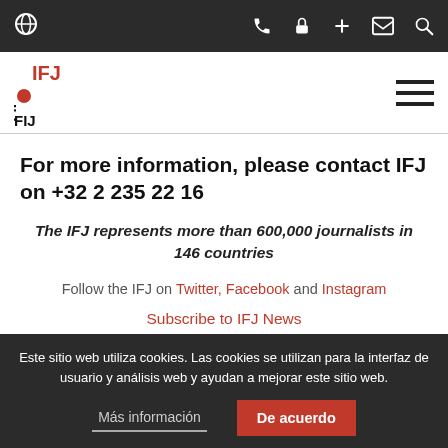[Figure (screenshot): Top navigation bar with dark background, globe icon on left, phone/lock/plus/mail/search icons on right]
[Figure (logo): IFJ logo with FIP text, red circle, on white background header with hamburger menu icon]
For more information, please contact IFJ on +32 2 235 22 16
The IFJ represents more than 600,000 journalists in 146 countries
Follow the IFJ on Twitter, Facebook and Instagram
Subscribe to IFJ News
Este sitio web utiliza cookies. Las cookies se utilizan para la interfaz de usuario y análisis web y ayudan a mejorar este sitio web.
Más información
De acuerdo